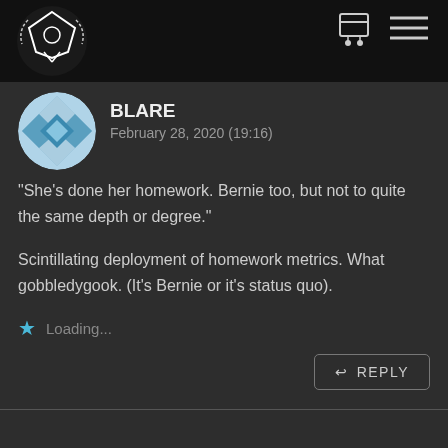[Figure (illustration): Dark top navigation bar with a logo (skull/crest icon in white on black) on the left, and cart and hamburger menu icons on the top right]
BLARE
February 28, 2020 (19:16)
"She's done her homework. Bernie too, but not to quite the same depth or degree."
Scintillating deployment of homework metrics. What gobbledygook. (It's Bernie or it's status quo).
★ Loading...
↩ REPLY